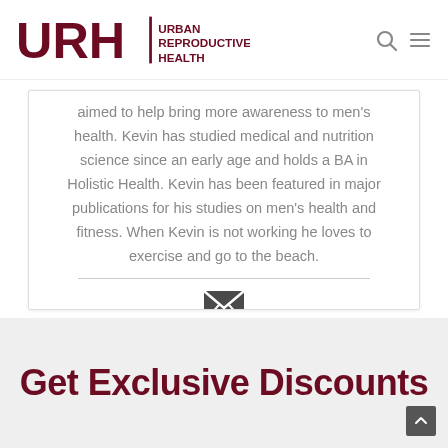URH Urban Reproductive Health
aimed to help bring more awareness to men's health. Kevin has studied medical and nutrition science since an early age and holds a BA in Holistic Health. Kevin has been featured in major publications for his studies on men's health and fitness. When Kevin is not working he loves to exercise and go to the beach.
[Figure (illustration): Envelope/email icon in dark gray]
Get Exclusive Discounts